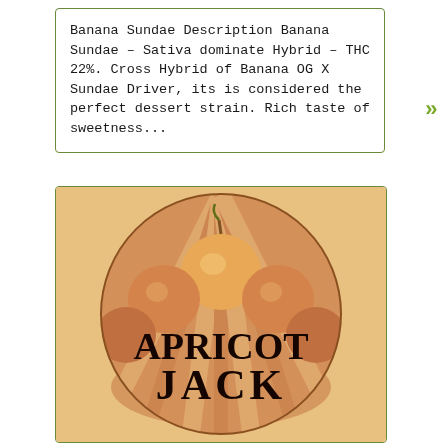Banana Sundae Description Banana Sundae – Sativa dominate Hybrid – THC 22%. Cross Hybrid of Banana OG X Sundae Driver, its is considered the perfect dessert strain. Rich taste of sweetness...
[Figure (illustration): Circular logo/image for 'Apricot Jack' cannabis strain. Background shows orange/peach-colored round fruits or buds with radiating light pattern. Bold dark stylized text reads 'APRICOT JACK' across the lower half of the circle.]